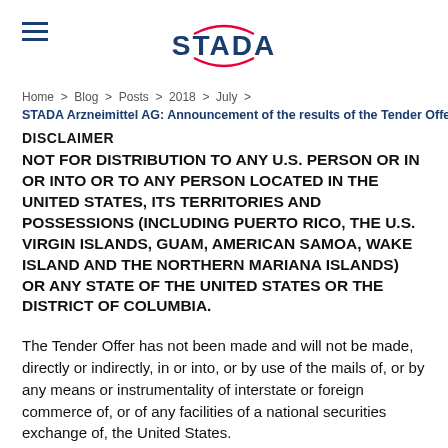[Figure (logo): STADA logo with blue text and red arc swooshes above and below]
Home > Blog > Posts > 2018 > July >
STADA Arzneimittel AG: Announcement of the results of the Tender Offer rega
DISCLAIMER
NOT FOR DISTRIBUTION TO ANY U.S. PERSON OR IN OR INTO OR TO ANY PERSON LOCATED IN THE UNITED STATES, ITS TERRITORIES AND POSSESSIONS (INCLUDING PUERTO RICO, THE U.S. VIRGIN ISLANDS, GUAM, AMERICAN SAMOA, WAKE ISLAND AND THE NORTHERN MARIANA ISLANDS) OR ANY STATE OF THE UNITED STATES OR THE DISTRICT OF COLUMBIA.
The Tender Offer has not been made and will not be made, directly or indirectly, in or into, or by use of the mails of, or by any means or instrumentality of interstate or foreign commerce of, or of any facilities of a national securities exchange of, the United States.